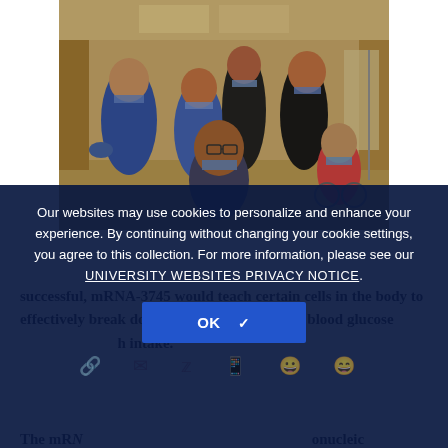[Figure (photo): Group photo of healthcare workers and patients wearing face masks in a hospital corridor]
Our websites may use cookies to personalize and enhance your experience. By continuing without changing your cookie settings, you agree to this collection. For more information, please see our UNIVERSITY WEBSITES PRIVACY NOTICE.
OK ✓
successful, mRNA-3745 would teach certain cells in the body to effectively break down glycogen, correct low blood glucose [and restrict starch intake].
The mRNA [nucleic